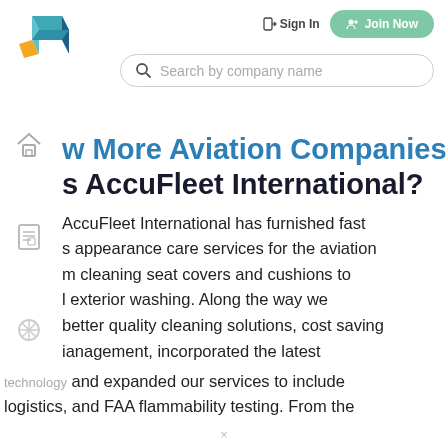[Figure (logo): Abstract 3D cube logo with teal, dark blue, and orange segments]
Sign In  Join Now  Search by company name
w More Aviation Companies AccuFleet International?
AccuFleet International has furnished fast s appearance care services for the aviation m cleaning seat covers and cushions to l exterior washing. Along the way we better quality cleaning solutions, cost saving ianagement, incorporated the latest technology and expanded our services to include logistics, and FAA flammability testing. From the